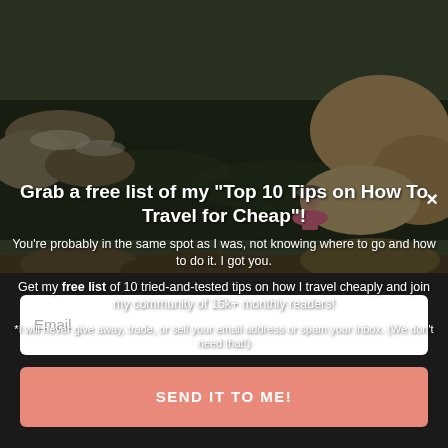[Figure (photo): Beach scene with people walking on a grey sandy beach under overcast sky, one person in foreground wearing a black puffer jacket and patterned skirt]
[Figure (photo): Hot spring or thermal pool with rocky edges and warm water, a person in a pink bikini crouching by the water, large boulders visible]
×
Grab a free list of my "Top 10 Tips on How To Travel for Cheap"!
You're probably in the same spot as I was, not knowing where to go and how to do it. I got you.
Get my free list of 10 tried-and-tested tips on how I travel cheaply and join my community of 15k+ monthly readers!
*I will never give away, trade, or sell your email address or spam your inbox. (We don't need that!)
Email
SEND IT TO ME!